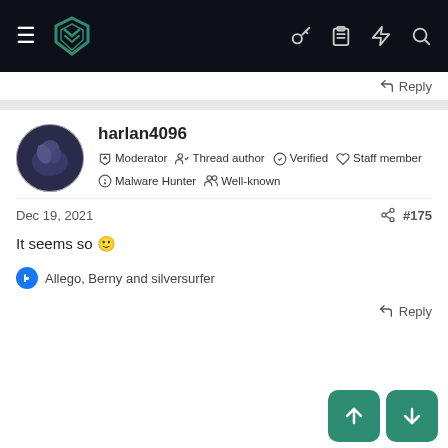harlan4096 forum navigation bar with logo and icons
Reply
harlan4096
Moderator  Thread author  Verified  Staff member
Malware Hunter  Well-known
Dec 19, 2021  #175
It seems so 🙂
Allego, Berny and silversurfer
Reply